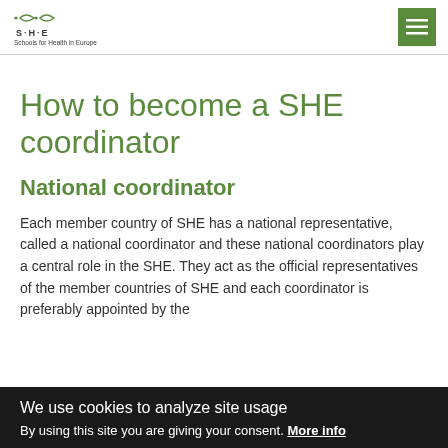S·H·E Schools for Health in Europe
How to become a SHE coordinator
National coordinator
Each member country of SHE has a national representative, called a national coordinator and these national coordinators play a central role in the SHE. They act as the official representatives of the member countries of SHE and each coordinator is preferably appointed by the
We use cookies to analyze site usage
By using this site you are giving your consent. More info